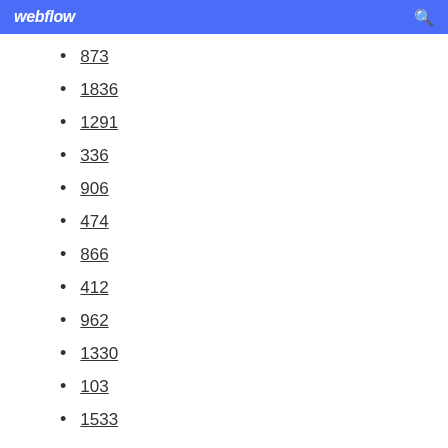webflow
873
1836
1291
336
906
474
866
412
962
1330
103
1533